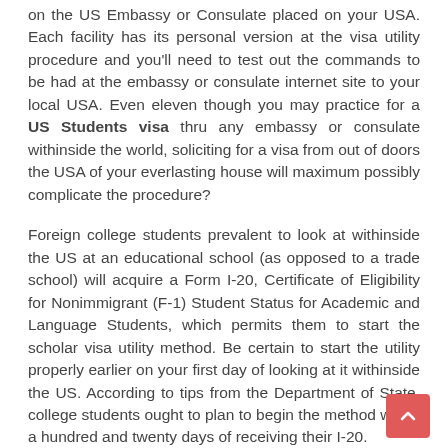on the US Embassy or Consulate placed on your USA. Each facility has its personal version at the visa utility procedure and you'll need to test out the commands to be had at the embassy or consulate internet site to your local USA. Even eleven though you may practice for a US Students visa thru any embassy or consulate withinside the world, soliciting for a visa from out of doors the USA of your everlasting house will maximum possibly complicate the procedure?
Foreign college students prevalent to look at withinside the US at an educational school (as opposed to a trade school) will acquire a Form I-20, Certificate of Eligibility for Nonimmigrant (F-1) Student Status for Academic and Language Students, which permits them to start the scholar visa utility method. Be certain to start the utility properly earlier on your first day of looking at it withinside the US. According to tips from the Department of State, college students ought to plan to begin the method within a hundred and twenty days of receiving their I-20.